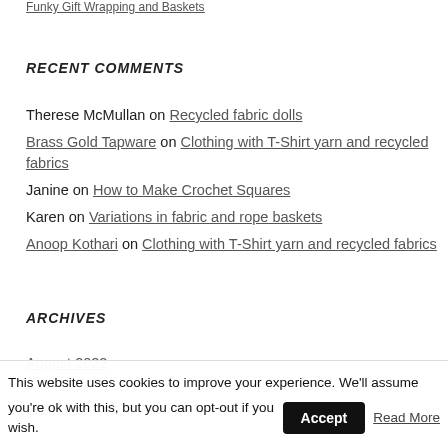Funky Gift Wrapping and Baskets
RECENT COMMENTS
Therese McMullan on Recycled fabric dolls
Brass Gold Tapware on Clothing with T-Shirt yarn and recycled fabrics
Janine on How to Make Crochet Squares
Karen on Variations in fabric and rope baskets
Anoop Kothari on Clothing with T-Shirt yarn and recycled fabrics
ARCHIVES
August 2022
July 2022
This website uses cookies to improve your experience. We'll assume you're ok with this, but you can opt-out if you wish. Accept Read More